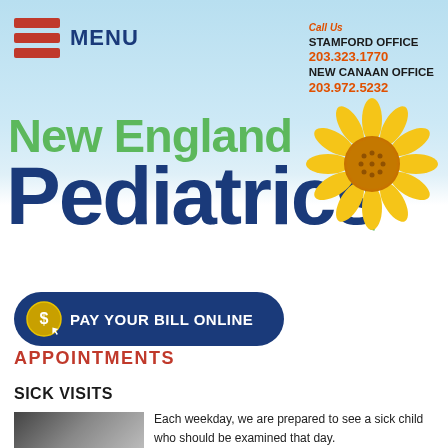MENU
Call Us
STAMFORD OFFICE
203.323.1770
NEW CANAAN OFFICE
203.972.5232
New England Pediatrics
[Figure (logo): New England Pediatrics logo with sunflower replacing the 'i' dot in Pediatrics]
[Figure (other): PAY YOUR BILL ONLINE button with coin/cursor icon]
APPOINTMENTS
SICK VISITS
[Figure (photo): Black and white photo of a sick child]
Each weekday, we are prepared to see a sick child who should be examined that day.